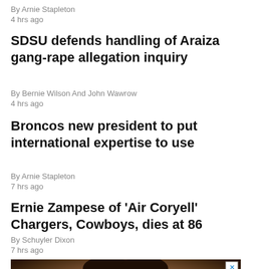By Arnie Stapleton
4 hrs ago
SDSU defends handling of Araiza gang-rape allegation inquiry
By Bernie Wilson And John Wawrow
4 hrs ago
Broncos new president to put international expertise to use
By Arnie Stapleton
7 hrs ago
Ernie Zampese of 'Air Coryell' Chargers, Cowboys, dies at 86
By Schuyler Dixon
7 hrs ago
[Figure (photo): Advertisement showing a person with curly hair looking upward, with a close button in the top right corner]